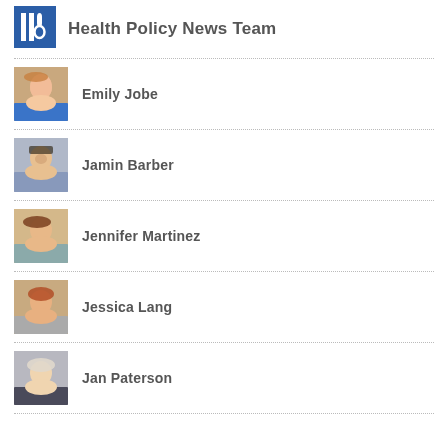Health Policy News Team
Emily Jobe
Jamin Barber
Jennifer Martinez
Jessica Lang
Jan Paterson